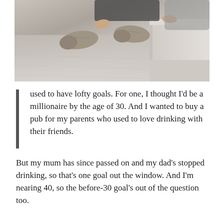[Figure (photo): Photo of a person lying down outdoors on concrete steps, barefoot with shoes removed and placed nearby on the ground.]
I used to have lofty goals. For one, I thought I'd be a millionaire by the age of 30. And I wanted to buy a pub for my parents who used to love drinking with their friends.
But my mum has since passed on and my dad's stopped drinking, so that's one goal out the window. And I'm nearing 40, so the before-30 goal's out of the question too.